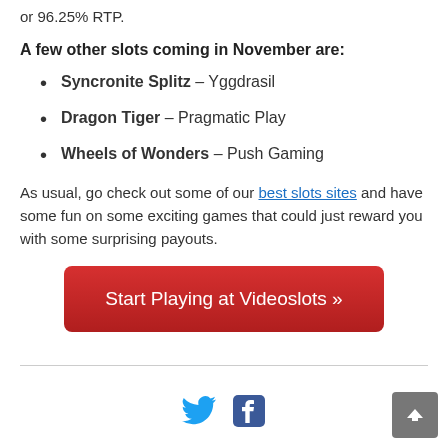or 96.25% RTP.
A few other slots coming in November are:
Syncronite Splitz – Yggdrasil
Dragon Tiger – Pragmatic Play
Wheels of Wonders – Push Gaming
As usual, go check out some of our best slots sites and have some fun on some exciting games that could just reward you with some surprising payouts.
[Figure (other): Red CTA button reading 'Start Playing at Videoslots »']
[Figure (other): Twitter and Facebook social media icons in the footer area, plus a grey back-to-top arrow button]